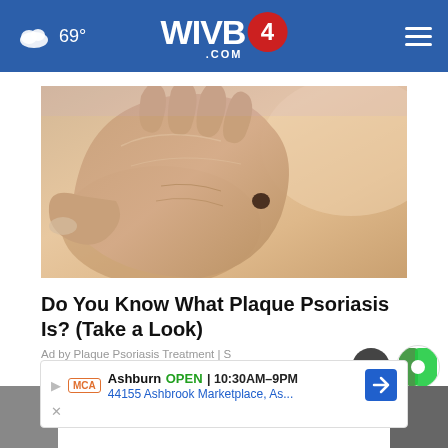☁ 69° WIVB4.COM
[Figure (photo): Close-up photo of a hand touching skin with a dark mole/spot, representing plaque psoriasis]
Do You Know What Plaque Psoriasis Is? (Take a Look)
Ad by Plaque Psoriasis Treatment | S
AROUND THE WEB
[Figure (screenshot): Bottom advertisement bar: Ashburn OPEN 10:30AM–9PM, 44155 Ashbrook Marketplace, As...]